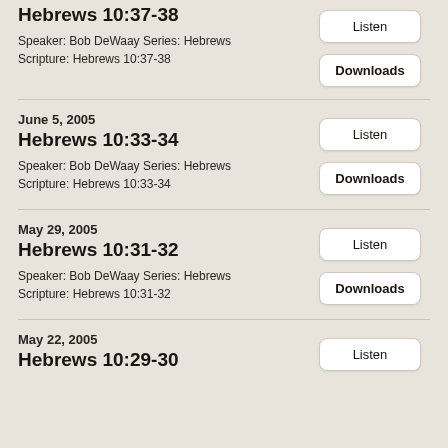Hebrews 10:37-38
Speaker: Bob DeWaay Series: Hebrews Scripture: Hebrews 10:37-38
Listen
Downloads
June 5, 2005
Hebrews 10:33-34
Speaker: Bob DeWaay Series: Hebrews Scripture: Hebrews 10:33-34
Listen
Downloads
May 29, 2005
Hebrews 10:31-32
Speaker: Bob DeWaay Series: Hebrews Scripture: Hebrews 10:31-32
Listen
Downloads
May 22, 2005
Hebrews 10:29-30
Listen